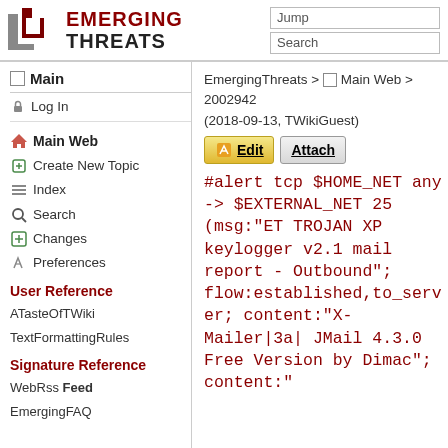Emerging Threats — Jump / Search header
Main
Log In
Main Web
Create New Topic
Index
Search
Changes
Preferences
User Reference
ATasteOfTWiki
TextFormattingRules
Signature Reference
WebRss Feed
EmergingFAQ
EmergingThreats > Main Web > 2002942
(2018-09-13, TWikiGuest)
#alert tcp $HOME_NET any -> $EXTERNAL_NET 25 (msg:"ET TROJAN XP keylogger v2.1 mail report - Outbound"; flow:established,to_server; content:"X-Mailer|3a| JMail 4.3.0 Free Version by Dimac"; content:"